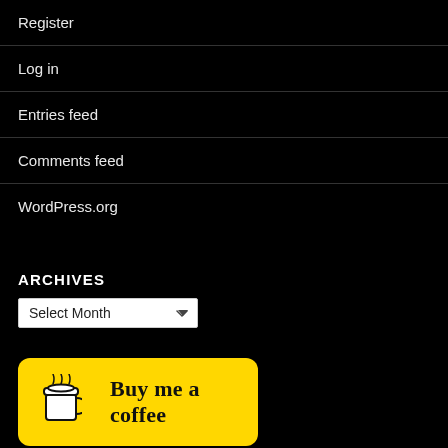Register
Log in
Entries feed
Comments feed
WordPress.org
ARCHIVES
[Figure (other): Archives dropdown select box with 'Select Month' placeholder]
[Figure (other): Buy me a coffee yellow button with coffee cup icon]